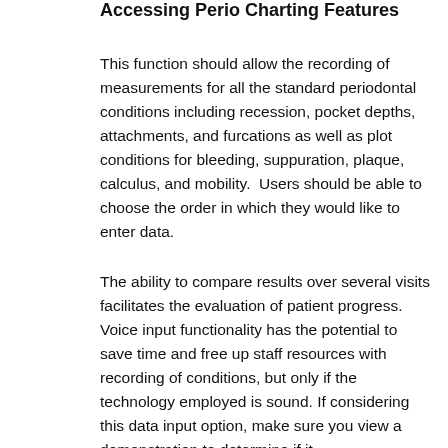Accessing Perio Charting Features
This function should allow the recording of measurements for all the standard periodontal conditions including recession, pocket depths, attachments, and furcations as well as plot conditions for bleeding, suppuration, plaque, calculus, and mobility.  Users should be able to choose the order in which they would like to enter data.
The ability to compare results over several visits facilitates the evaluation of patient progress. Voice input functionality has the potential to save time and free up staff resources with recording of conditions, but only if the technology employed is sound. If considering this data input option, make sure you view a demonstration to determine if it